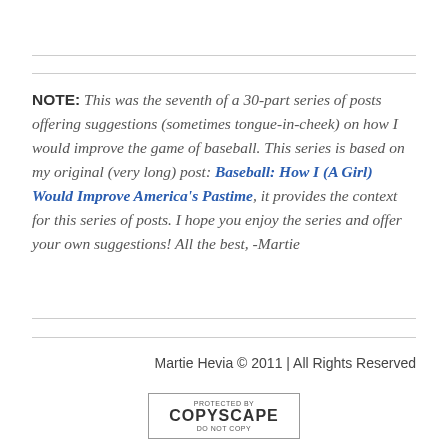NOTE: This was the seventh of a 30-part series of posts offering suggestions (sometimes tongue-in-cheek) on how I would improve the game of baseball. This series is based on my original (very long) post: Baseball: How I (A Girl) Would Improve America's Pastime, it provides the context for this series of posts. I hope you enjoy the series and offer your own suggestions! All the best, -Martie
Martie Hevia © 2011 | All Rights Reserved
[Figure (logo): Copyscape 'Protected by Copyscape Do Not Copy' badge]